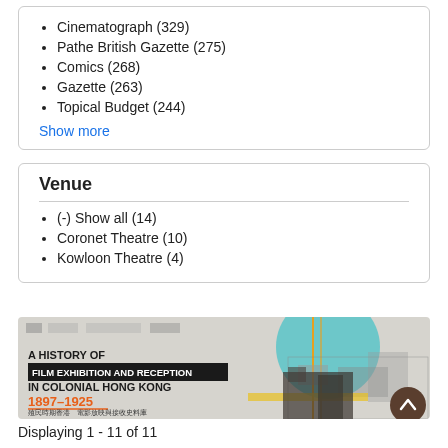Cinematograph (329)
Pathe British Gazette (275)
Comics (268)
Gazette (263)
Topical Budget (244)
Show more
Venue
(-) Show all (14)
Coronet Theatre (10)
Kowloon Theatre (4)
[Figure (illustration): Banner image for 'A History of Film Exhibition and Reception in Colonial Hong Kong 1897-1925' with Chinese text, featuring architectural imagery with teal/blue dome, orange lines, and dark building illustrations]
Displaying 1 - 11 of 11
1